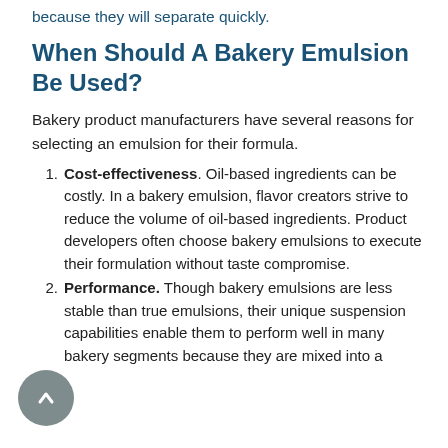because they will separate quickly.
When Should A Bakery Emulsion Be Used?
Bakery product manufacturers have several reasons for selecting an emulsion for their formula.
Cost-effectiveness. Oil-based ingredients can be costly. In a bakery emulsion, flavor creators strive to reduce the volume of oil-based ingredients. Product developers often choose bakery emulsions to execute their formulation without taste compromise.
Performance. Though bakery emulsions are less stable than true emulsions, their unique suspension capabilities enable them to perform well in many bakery segments because they are mixed into a